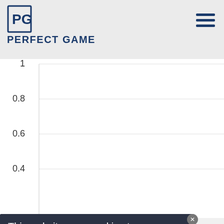PERFECT GAME
[Figure (continuous-plot): Partial view of a line/area chart with y-axis values visible: 0.4, 0.6, 0.8, 1. The chart area is mostly white with light horizontal gridlines. The x-axis and data series are cut off. This appears to be a sports statistics chart on the Perfect Game website.]
This website uses cookies to ensure you get the
Wayfair.com - Online Home Store Sale!
Shop for A Zillion Things Home across all styles at Wayfair!
www.wayfair.com